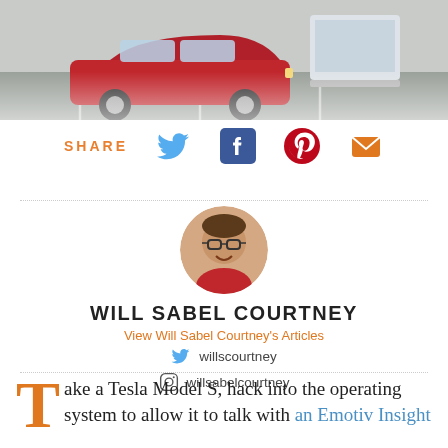[Figure (photo): Top banner photo showing a red Tesla Model S in a parking lot with a laptop/screen visible, gray asphalt background]
SHARE [Twitter icon] [Facebook icon] [Pinterest icon] [Email icon]
[Figure (photo): Circular author headshot of Will Sabel Courtney, a young man with glasses and a smile, wearing a red shirt]
WILL SABEL COURTNEY
View Will Sabel Courtney's Articles
willscourtney
willsabelcourtney
ake a Tesla Model S, hack into the operating system to allow it to talk with an Emotiv Insight